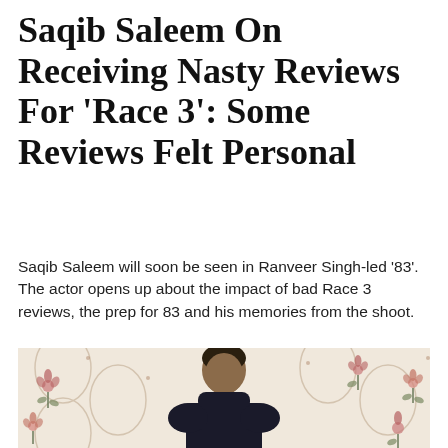Saqib Saleem On Receiving Nasty Reviews For 'Race 3': Some Reviews Felt Personal
Saqib Saleem will soon be seen in Ranveer Singh-led '83'. The actor opens up about the impact of bad Race 3 reviews, the prep for 83 and his memories from the shoot.
[Figure (photo): Photo of Saqib Saleem wearing a dark turtleneck sweater, standing in front of a floral patterned wallpaper with pink and red flowers on a beige/cream background.]